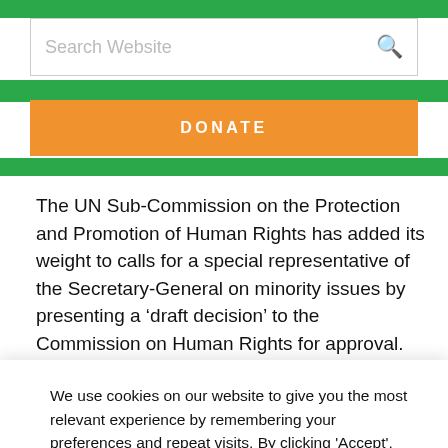Search Website
DONATE
The UN Sub-Commission on the Protection and Promotion of Human Rights has added its weight to calls for a special representative of the Secretary-General on minority issues by presenting a ‘draft decision’ to the Commission on Human Rights for approval. The decision, which will face a vote at the more political, state-dominated Commission, highlights the value of such a role in country fact finding and
We use cookies on our website to give you the most relevant experience by remembering your preferences and repeat visits. By clicking 'Accept', you consent to the use of all the cookies.
Cookie settings
ACCEPT